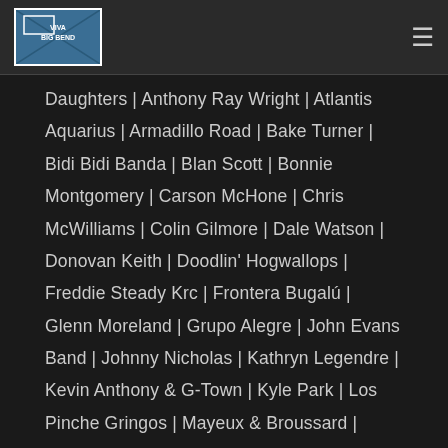Viva Big Bend - navigation header
Daughters | Anthony Ray Wright | Atlantis Aquarius | Armadillo Road | Bake Turner | Bidi Bidi Banda | Blan Scott | Bonnie Montgomery | Carson McHone | Chris McWilliams | Colin Gilmore | Dale Watson | Donovan Keith | Doodlin' Hogwallops | Freddie Steady Krc | Frontera Bugalú | Glenn Moreland | Grupo Alegre | John Evans Band | Johnny Nicholas | Kathryn Legendre | Kevin Anthony & G-Town | Kyle Park | Los Pinche Gringos | Mayeux & Broussard | Midnight River Choir | Mitch Webb & the Swindles | Patrice Pike & Wayne Sutton | Primo Carrasco & David Beebe | Radio La Chusma | Shawn Sahm's Tex-Mex All-Star Band featuring Shawn Sahm, Bobby Flores, John Jorgenson, and more! | Staehely Brothers | Summer Dean | Tessy Lou & The Shotgun Stars | The Nightowls | The Elvin' A's | The New Offenders | The Swifts | Tomar & The FC's